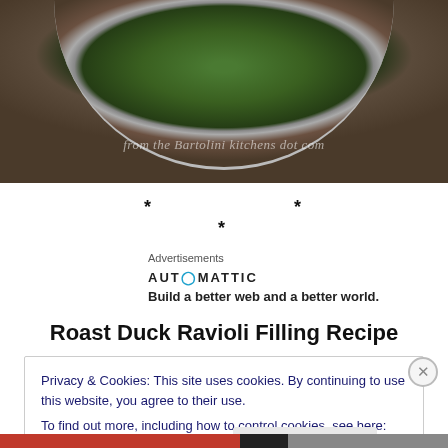[Figure (photo): Top portion of a bowl containing green herb or food mixture, photographed from above on a brown surface. Watermark text reads 'from the Bartolini kitchens dot com']
* * *
Advertisements
[Figure (logo): Automattic logo with tagline: Build a better web and a better world.]
Roast Duck Ravioli Filling Recipe
Privacy & Cookies: This site uses cookies. By continuing to use this website, you agree to their use.
To find out more, including how to control cookies, see here: Cookie Policy
Close and accept